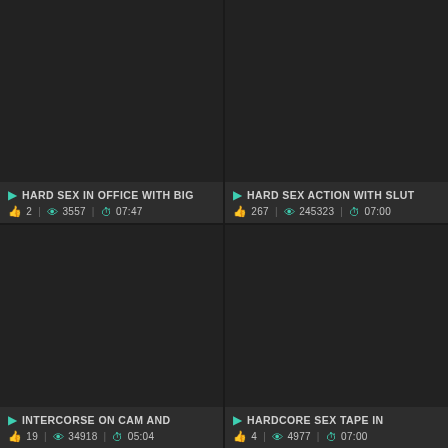[Figure (screenshot): Video thumbnail grid - top left, dark background]
HARD SEX IN OFFICE WITH BIG
2 | 3557 | 07:47
[Figure (screenshot): Video thumbnail grid - top right, dark background]
HARD SEX ACTION WITH SLUT
267 | 245323 | 07:00
[Figure (screenshot): Video thumbnail grid - bottom left, dark background]
INTERCORSE ON CAM AND
19 | 34918 | 05:04
[Figure (screenshot): Video thumbnail grid - bottom right, dark background]
HARDCORE SEX TAPE IN
4 | 4977 | 07:00